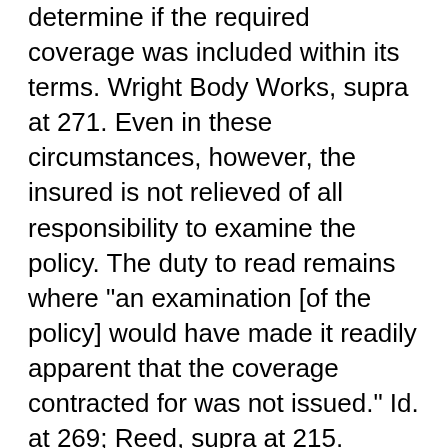determine if the required coverage was included within its terms. Wright Body Works, supra at 271. Even in these circumstances, however, the insured is not relieved of all responsibility to examine the policy. The duty to read remains where "an examination [of the policy] would have made it readily apparent that the coverage contracted for was not issued." Id. at 269; Reed, supra at 215.

Applying these principles, I cannot agree that the defendants may be liable for failing to provide the coverage sought, or to explain the operation of the co-insurance clause. Construed in favor of the Club, the record reflects